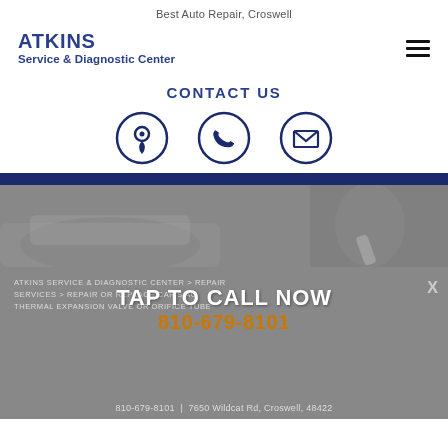Best Auto Repair, Croswell
ATKINS Service & Diagnostic Center
CONTACT US
[Figure (infographic): Three contact icons in circles: map pin (location), phone, and envelope (email), dark navy on white]
[Figure (photo): Grayscale photo of auto repair shop — car in background, mechanic holding wrench on right side]
ATKINS SERVICE & DIAGNOSTIC CENTER > REPAIR SERVICES > REPAIR OR REPLACE CAR'S AC THERMAL EXPANSION VALVE OR ORIFICE TUBE
TAP TO CALL NOW
810-679-8101
810-679-8101 | 7650 Wildcat Rd, Croswell, 48422